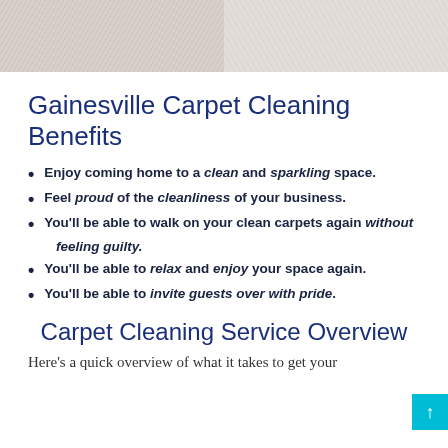[Figure (photo): Two side-by-side photos of carpet texture — left shows slightly dirty/grey carpet, right shows cleaner lighter carpet]
Gainesville Carpet Cleaning Benefits
Enjoy coming home to a clean and sparkling space.
Feel proud of the cleanliness of your business.
You'll be able to walk on your clean carpets again without feeling guilty.
You'll be able to relax and enjoy your space again.
You'll be able to invite guests over with pride.
Carpet Cleaning Service Overview
Here's a quick overview of what it takes to get your